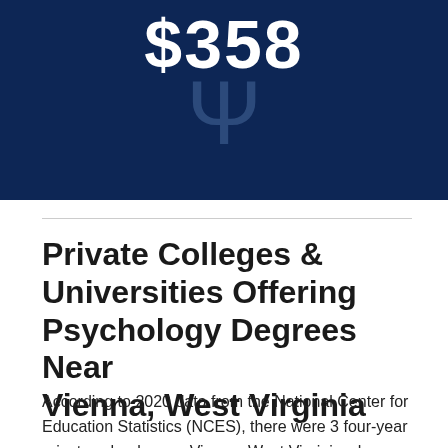[Figure (infographic): Dark navy blue banner with large white text '$358' and a large semi-transparent psi symbol below it]
Private Colleges & Universities Offering Psychology Degrees Near Vienna, West Virginia
According to 2020 data from the National Center for Education Statistics (NCES), there were 3 four-year private schools near Vienna, West Virginia where students completed 50 psychology degree programs.